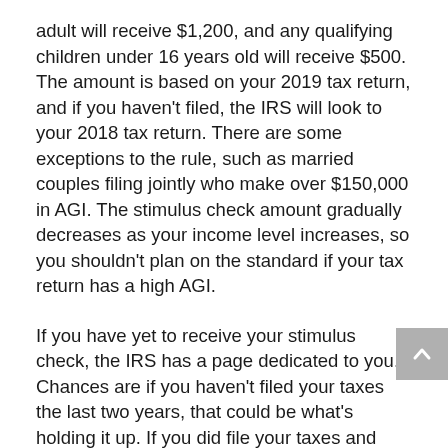adult will receive $1,200, and any qualifying children under 16 years old will receive $500. The amount is based on your 2019 tax return, and if you haven't filed, the IRS will look to your 2018 tax return. There are some exceptions to the rule, such as married couples filing jointly who make over $150,000 in AGI. The stimulus check amount gradually decreases as your income level increases, so you shouldn't plan on the standard if your tax return has a high AGI.
If you have yet to receive your stimulus check, the IRS has a page dedicated to you. Chances are if you haven't filed your taxes the last two years, that could be what's holding it up. If you did file your taxes and had your return mailed to you instead of directly deposited, that could be holding it up. Fill in the information on th[e IRS page] so you can get your stimulus check as soon as possible.